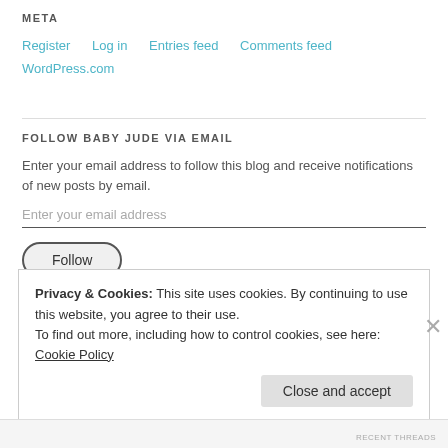META
Register
Log in
Entries feed
Comments feed
WordPress.com
FOLLOW BABY JUDE VIA EMAIL
Enter your email address to follow this blog and receive notifications of new posts by email.
Enter your email address
Follow
Privacy & Cookies: This site uses cookies. By continuing to use this website, you agree to their use.
To find out more, including how to control cookies, see here: Cookie Policy
Close and accept